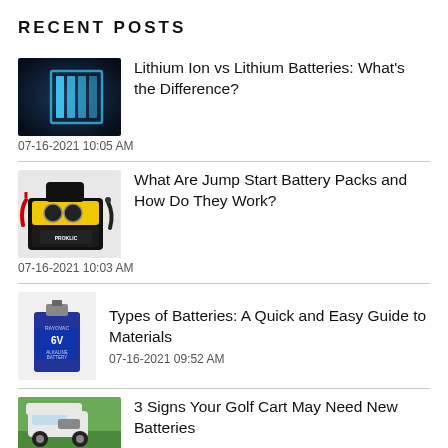RECENT POSTS
[Figure (photo): Dark blue background with a glowing blue battery icon]
Lithium Ion vs Lithium Batteries: What's the Difference?
07-16-2021 10:05 AM
[Figure (photo): Yellow and black jump start battery pack with red and black cables]
What Are Jump Start Battery Packs and How Do They Work?
07-16-2021 10:03 AM
[Figure (photo): Blue 6V alkaline battery product photo]
Types of Batteries: A Quick and Easy Guide to Materials
07-16-2021 09:52 AM
[Figure (photo): Golf cart on a green golf course]
3 Signs Your Golf Cart May Need New Batteries